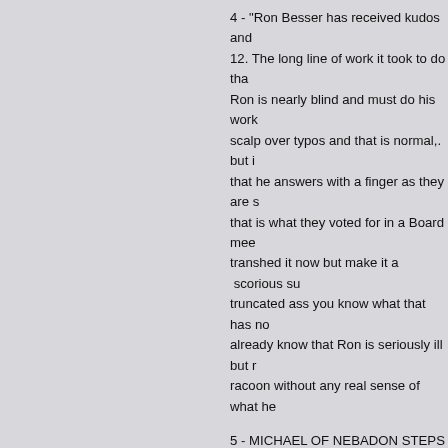4 - "Ron Besser has received kudos and 12. The long line of work it took to do tha Ron is nearly blind and must do his work scalp over typos and that is normal,. but i that he answers with a finger as they are s that is what they voted for in a Board mee transhed it now but make it a scorious su truncated ass you know what that has no already know that Ron is seriously ill but r racoon without any real sense of what he
5 - MICHAEL OF NEBADON STEPS IN - nothing and that seems to be the size of t this web site. Few understand that Ron is as John the Baptist once said, Ron is sma it out as best he can until we are in contro I am willing to help Ron, but please do no as they really ask for it too.
"As as man one time, I feel we have lost a year again, and this time, regardless of th remove that Foundation for its own good a corporate concerns and desperate decisio figure out how he gets well supplied with s wrote a piece of epochal revelation to all o